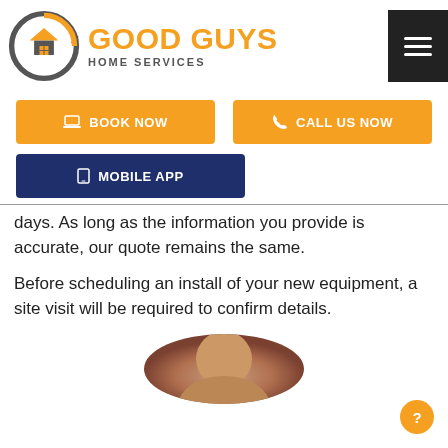[Figure (logo): Good Guys Home Services logo with circular arrow icon and house symbol in orange and dark gray]
[Figure (screenshot): Orange 'BOOK NOW' button with laptop icon]
[Figure (screenshot): Orange 'CALL US NOW' button with phone icon]
[Figure (screenshot): Navy 'MOBILE APP' button with phone icon]
days. As long as the information you provide is accurate, our quote remains the same.
Before scheduling an install of your new equipment, a site visit will be required to confirm details.
[Figure (photo): Circular cropped photo of a person, partially visible at bottom of page]